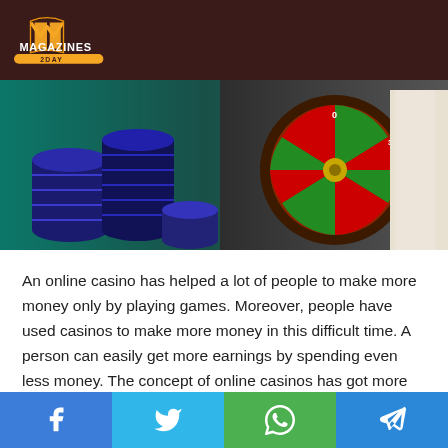Magazines 2Day logo
[Figure (photo): Casino chips stacked on a gaming table alongside a roulette wheel and a dealer in a white jacket]
An online casino has helped a lot of people to make more money only by playing games. Moreover, people have used casinos to make more money in this difficult time. A person can easily get more earnings by spending even less money. The concept of online casinos has got more popular after the arrival of the pandemic. Prior to that, people were happy to go to offline casinos even after knowing that it is a deal of loss.
Social share bar: Facebook, Twitter, WhatsApp, Telegram